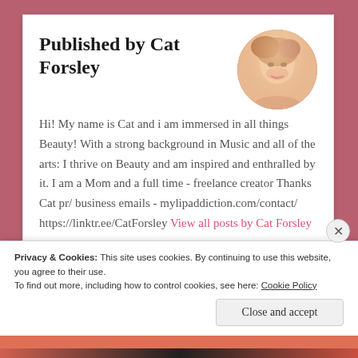Published by Cat Forsley
Hi! My name is Cat and i am immersed in all things Beauty! With a strong background in Music and all of the arts: I thrive on Beauty and am inspired and enthralled by it. I am a Mom and a full time - freelance creator Thanks Cat pr/ business emails - mylipaddiction.com/contact/ https://linktr.ee/CatForsley View all posts by Cat Forsley
[Figure (photo): Circular profile photo of Cat Forsley, a woman with blonde hair and warm skin tones]
Privacy & Cookies: This site uses cookies. By continuing to use this website, you agree to their use.
To find out more, including how to control cookies, see here: Cookie Policy